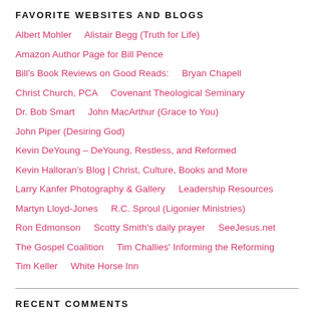FAVORITE WEBSITES AND BLOGS
Albert Mohler     Alistair Begg (Truth for Life)
Amazon Author Page for Bill Pence
Bill's Book Reviews on Good Reads:     Bryan Chapell
Christ Church, PCA     Covenant Theological Seminary
Dr. Bob Smart     John MacArthur (Grace to You)
John Piper (Desiring God)
Kevin DeYoung – DeYoung, Restless, and Reformed
Kevin Halloran's Blog | Christ, Culture, Books and More
Larry Kanfer Photography & Gallery     Leadership Resources
Martyn Lloyd-Jones     R.C. Sproul (Ligonier Ministries)
Ron Edmonson     Scotty Smith's daily prayer     SeeJesus.net
The Gospel Coalition     Tim Challies' Informing the Reforming
Tim Keller     White Horse Inn
RECENT COMMENTS